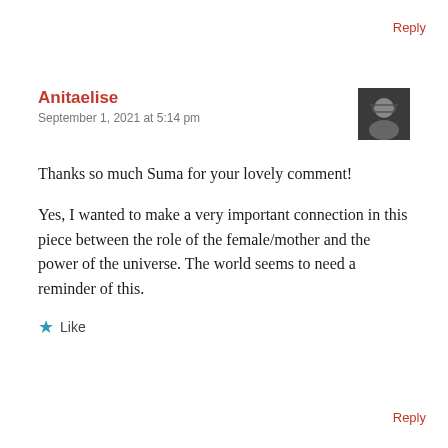Reply
Anitaelise
September 1, 2021 at 5:14 pm
[Figure (photo): Avatar photo of Anitaelise, a person with glasses]
Thanks so much Suma for your lovely comment!

Yes, I wanted to make a very important connection in this piece between the role of the female/mother and the power of the universe. The world seems to need a reminder of this.
Like
Reply